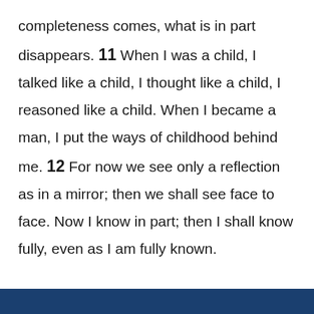completeness comes, what is in part disappears. 11 When I was a child, I talked like a child, I thought like a child, I reasoned like a child. When I became a man, I put the ways of childhood behind me. 12 For now we see only a reflection as in a mirror; then we shall see face to face. Now I know in part; then I shall know fully, even as I am fully known. 13 And now these three remain: faith, hope and love. But the greatest of these is love.
[Figure (other): Dark blue footer bar at the bottom of the page]